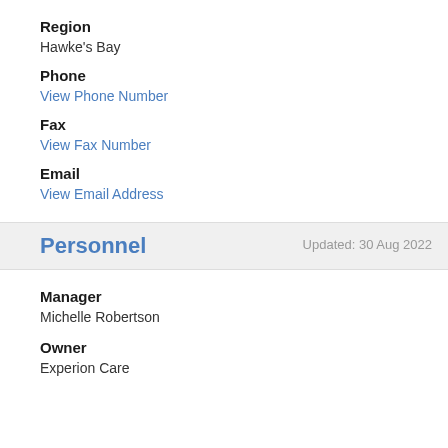Region
Hawke's Bay
Phone
View Phone Number
Fax
View Fax Number
Email
View Email Address
Personnel
Updated: 30 Aug 2022
Manager
Michelle Robertson
Owner
Experion Care